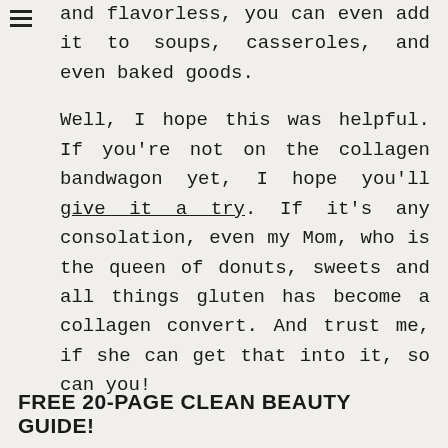and flavorless, you can even add it to soups, casseroles, and even baked goods.
Well, I hope this was helpful. If you’re not on the collagen bandwagon yet, I hope you’ll give it a try. If it’s any consolation, even my Mom, who is the queen of donuts, sweets and all things gluten has become a collagen convert. And trust me, if she can get that into it, so can you!
FREE 20-PAGE CLEAN BEAUTY GUIDE!